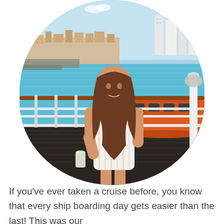[Figure (photo): A woman in a white striped sleeveless romper standing on a cruise ship deck, holding a drink, with turquoise water, a harbor, and a city skyline in the background. An orange lifeboat is visible to her right. The photo is cropped in a rounded shield/tombstone shape.]
If you've ever taken a cruise before, you know that every ship boarding day gets easier than the last! This was our